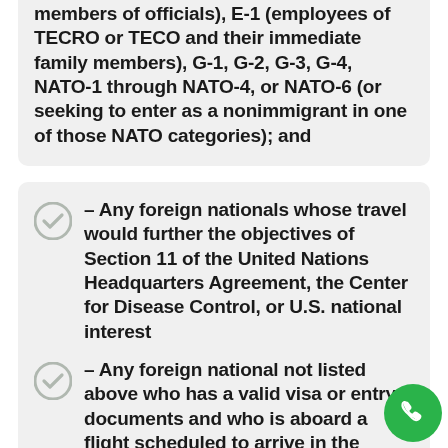members of officials), E-1 (employees of TECRO or TECO and their immediate family members), G-1, G-2, G-3, G-4, NATO-1 through NATO-4, or NATO-6 (or seeking to enter as a nonimmigrant in one of those NATO categories); and
– Any foreign nationals whose travel would further the objectives of Section 11 of the United Nations Headquarters Agreement, the Center for Disease Control, or U.S. national interest
– Any foreign national not listed above who has a valid visa or entry documents and who is aboard a flight scheduled to arrive in the United States that departed prior to 11:59 p.m. eastern daylight time